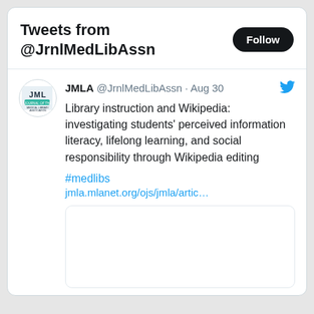Tweets from @JrnlMedLibAssn
JMLA @JrnlMedLibAssn · Aug 30
Library instruction and Wikipedia: investigating students' perceived information literacy, lifelong learning, and social responsibility through Wikipedia editing

#medlibs
jmla.mlanet.org/ojs/jmla/artic…
[Figure (other): Blank white image preview card with rounded border]